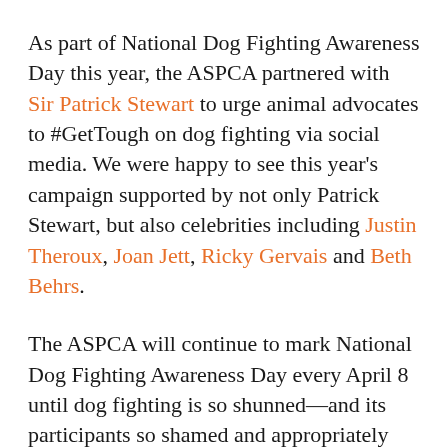As part of National Dog Fighting Awareness Day this year, the ASPCA partnered with Sir Patrick Stewart to urge animal advocates to #GetTough on dog fighting via social media. We were happy to see this year's campaign supported by not only Patrick Stewart, but also celebrities including Justin Theroux, Joan Jett, Ricky Gervais and Beth Behrs.
The ASPCA will continue to mark National Dog Fighting Awareness Day every April 8 until dog fighting is so shunned—and its participants so shamed and appropriately sentenced—that the brutal activity is not only deterred, but completely eradicated.
You can play a part in that outcome. Even if you